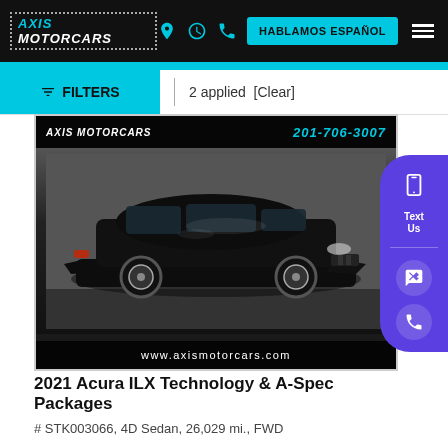AXIS MOTORCARS | HABLAMOS ESPAÑOL
FILTERS | 2 applied [Clear]
[Figure (photo): Black 2021 Acura ILX sedan photographed in a dealership showroom, three-quarter front view. Overlay shows Axis Motorcars logo, phone number 201-706-3007, and website www.axismotorcars.com.]
2021 Acura ILX Technology & A-Spec Packages
# STK003066, 4D Sedan, 26,029 mi., FWD